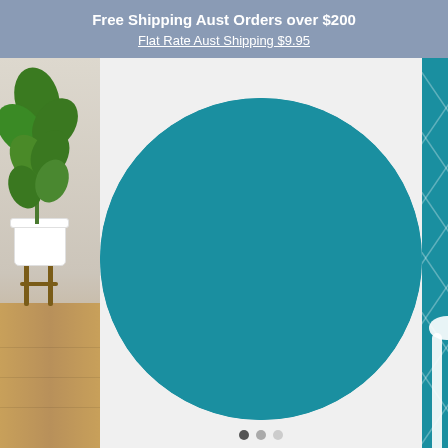Free Shipping Aust Orders over $200
Flat Rate Aust Shipping $9.95
[Figure (photo): E-commerce product page showing a round quilted baby play mat in teal/turquoise color with repeating white giraffe pattern. Left side shows a partial photo of a potted fiddle leaf fig plant on a wooden stand. Right side shows a partial view of another mat with larger giraffe print. Navigation dots visible at the bottom.]